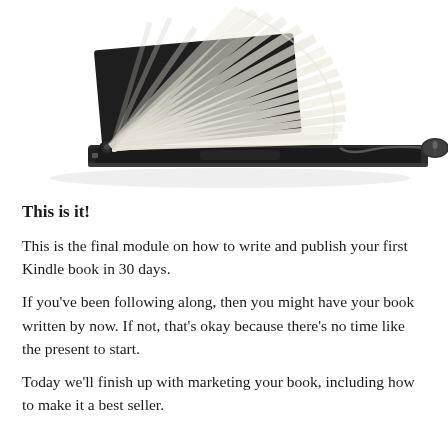[Figure (illustration): A laptop computer with an open book's pages fanning out from the screen area, connected to a wired computer mouse on the right side. White background with subtle shadow.]
This is it!
This is the final module on how to write and publish your first Kindle book in 30 days.
If you've been following along, then you might have your book written by now. If not, that's okay because there's no time like the present to start.
Today we'll finish up with marketing your book, including how to make it a best seller.